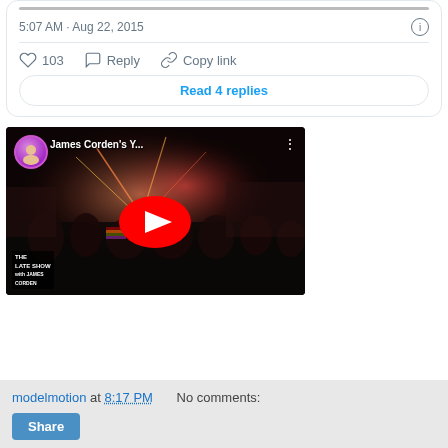5:07 AM · Aug 22, 2015
♡ 103   Reply   Copy link
Read 4 replies
[Figure (screenshot): YouTube video thumbnail for James Corden's Y... showing a crowd scene with fireworks, YouTube play button overlay, channel avatar with purple background, and The Late Show with James Corden branding in lower left]
modelmotion at 8:17 PM   No comments:
Share